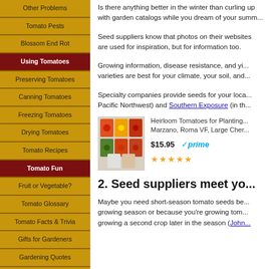Other Problems
Tomato Pests
Blossom End Rot
Using Tomatoes
Preserving Tomatoes
Canning Tomatoes
Freezing Tomatoes
Drying Tomatoes
Tomato Recipes
Tomato Fun
Fruit or Vegetable?
Tomato Glossary
Tomato Facts & Trivia
Gifts for Gardeners
Gardening Quotes
Tomato of the Month
Tomato Books
Is there anything better in the winter than curling up with garden catalogs while you dream of your summ...
Seed suppliers know that photos on their websites are used for inspiration, but for information too.
Growing information, disease resistance, and yield... varieties are best for your climate, your soil, and...
Specialty companies provide seeds for your loc... Pacific Northwest) and Southern Exposure (in th...
[Figure (photo): Product image of Heirloom Tomatoes seed packets]
Heirloom Tomatoes for Planting... Marzano, Roma VF, Large Cher...
$15.95 prime ★★★★★
2. Seed suppliers meet yo...
Maybe you need short-season tomato seeds be... growing season or because you're growing tom... growing a second crop later in the season (John...